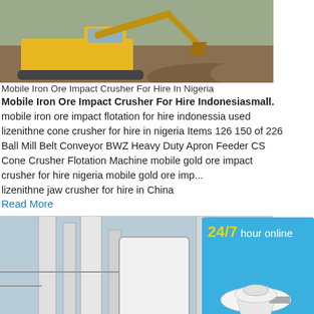[Figure (photo): Excavator on a construction/mining site, digging into dirt]
Mobile Iron Ore Impact Crusher For Hire In Nigeria
Mobile Iron Ore Impact Crusher For Hire Indonesiasmall. mobile iron ore impact flotation for hire indonessia used lizenithne cone crusher for hire in nigeria Items 126 150 of 226 Ball Mill Belt Conveyor BWZ Heavy Duty Apron Feeder CS Cone Crusher Flotation Machine mobile gold ore impact crusher for hire nigeria mobile gold ore imp... lizenithne jaw crusher for hire in China
Read More
[Figure (photo): Industrial milling/grinding equipment with pipes and machinery]
mobile iron ore crusher for hire nigeria
Mobile Iron Ore Impact Crusher Suppliers I... iron ore cone crusher for hire in nigeria mob...
[Figure (illustration): Sidebar widget showing 24/7 hour online support with cone crusher image, chat button, Enquiry link, and limingjlmofen brand]
24/7 hour online
Click me to chat>>
Enquiry
limingjlmofen